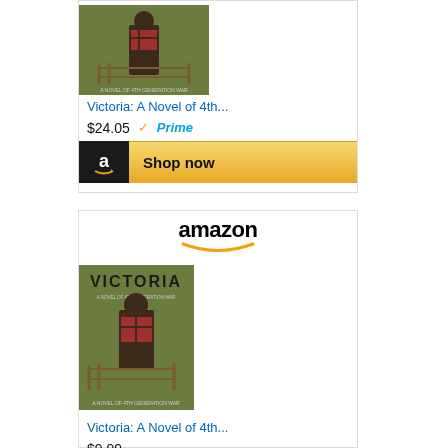[Figure (screenshot): Amazon product ad card showing book 'Victoria: A Novel of 4th...' priced at $24.05 with Prime badge and Shop now button]
[Figure (screenshot): Amazon product ad card showing book 'Victoria: A Novel of 4th...' priced at $9.99 with Shop now button, including Amazon logo at top]